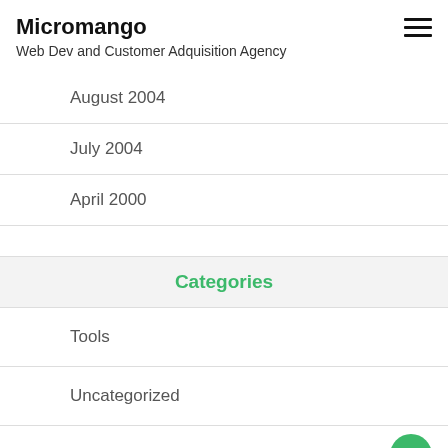Micromango
Web Dev and Customer Adquisition Agency
August 2004
July 2004
April 2000
Categories
Tools
Uncategorized
Websites